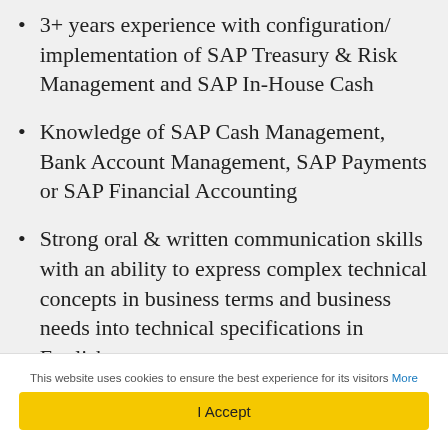3+ years experience with configuration/ implementation of SAP Treasury & Risk Management and SAP In-House Cash
Knowledge of SAP Cash Management, Bank Account Management, SAP Payments or SAP Financial Accounting
Strong oral & written communication skills with an ability to express complex technical concepts in business terms and business needs into technical specifications in English
This website uses cookies to ensure the best experience for its visitors More
I Accept